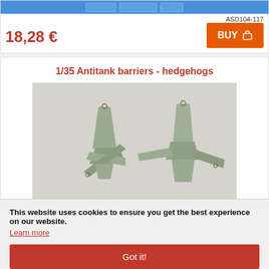[Figure (photo): Top product image strip — partially visible product image with blue background]
ASD104-117
18,28 €
BUY
1/35 Antitank barriers - hedgehogs
[Figure (photo): Two 1/35 scale antitank hedgehog barrier models in grey-green resin, photographed on a white/grey background]
This website uses cookies to ensure you get the best experience on our website.
Learn more
Got it!